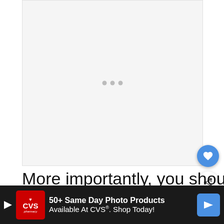[Figure (other): Large blank/white ad placeholder area with three small grey loading dots in the center]
More importantly, you should know that hedgehogs like to poop. They poop a lot, a
[Figure (other): What's Next overlay widget showing a thumbnail and text 'Why Do Hedgehogs...' with a blue arrow label 'WHAT'S NEXT']
[Figure (other): CVS Pharmacy advertisement banner: '50+ Same Day Photo Products Available At CVS®. Shop Today!' on dark background with CVS logo and blue arrow icon]